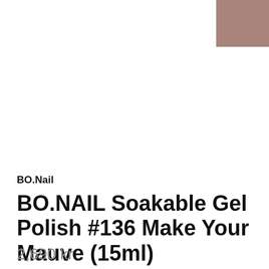[Figure (illustration): Small mauve/dusty rose color swatch square in the top-right corner]
BO.Nail
BO.NAIL Soakable Gel Polish #136 Make Your Mauve (15ml)
2,690 kr